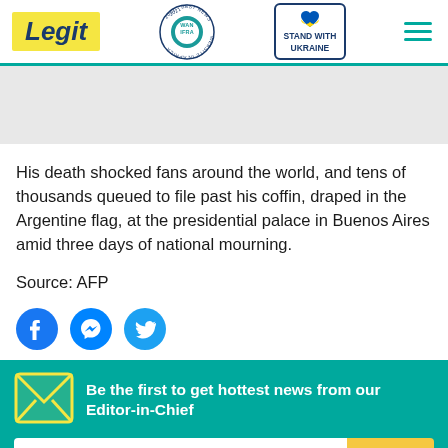Legit | WAN IFRA 2021 Best News Website in Africa | Stand with Ukraine
His death shocked fans around the world, and tens of thousands queued to file past his coffin, draped in the Argentine flag, at the presidential palace in Buenos Aires amid three days of national mourning.
Source: AFP
[Figure (infographic): Social media share icons: Facebook, Messenger, Twitter]
Be the first to get hottest news from our Editor-in-Chief
Your email address | SIGN UP